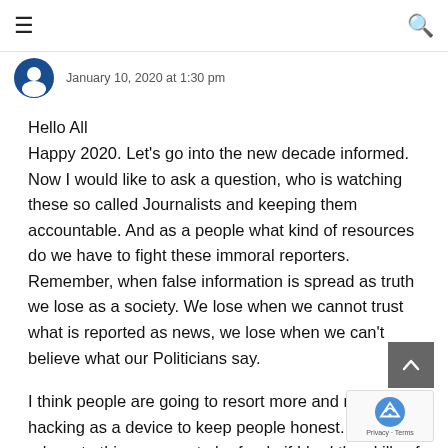≡  🔍
January 10, 2020 at 1:30 pm
Hello All
Happy 2020. Let's go into the new decade informed. Now I would like to ask a question, who is watching these so called Journalists and keeping them accountable. And as a people what kind of resources do we have to fight these immoral reporters. Remember, when false information is spread as truth we lose as a society. We lose when we cannot trust what is reported as news, we lose when we can't believe what our Politicians say.
I think people are going to resort more and more to hacking as a device to keep people honest. I do not advocate this practice, to be frank, if I had the skills of Darlene and Mr. Robot I would dox them all, starting with that Wootton guy and his Palace…